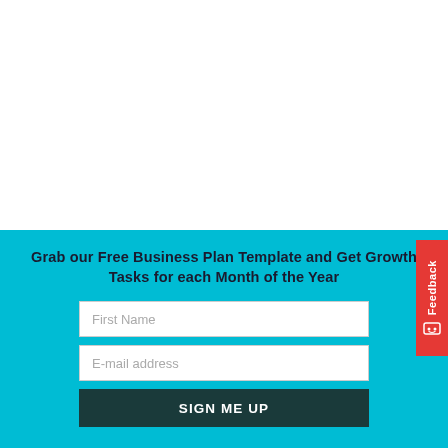Grab our Free Business Plan Template and Get Growth Tasks for each Month of the Year
First Name
E-mail address
SIGN ME UP
Feedback